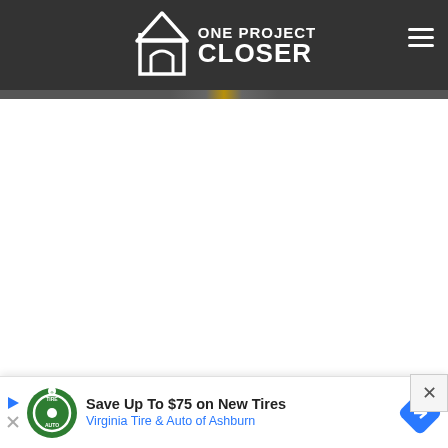ONE PROJECT CLOSER
[Figure (logo): One Project Closer logo — house icon with arched doorway and text 'ONE PROJECT CLOSER' in white on dark grey background]
[Figure (photo): Partially visible image strip below header, appears to be a product photo with yellow/gold element]
Push-b
That ex new
[Figure (screenshot): Advertisement banner: 'Save Up To $75 on New Tires — Virginia Tire & Auto of Ashburn' with green Tire Auto logo circle and blue diamond arrow icon]